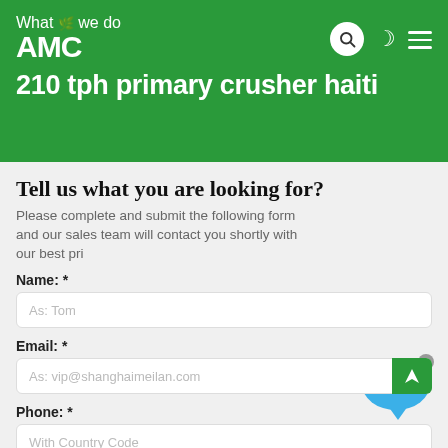What we do
AMC
210 tph primary crusher haiti
Tell us what you are looking for?
Please complete and submit the following form and our sales team will contact you shortly with our best pri...
Name: *
As: Tom
Email: *
As: vip@shanghaimeilan.com
Phone: *
With Country Code
The Location of the Project: